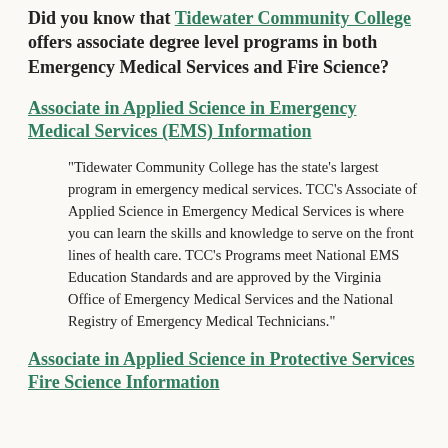Did you know that Tidewater Community College offers associate degree level programs in both Emergency Medical Services and Fire Science?
Associate in Applied Science in Emergency Medical Services (EMS) Information
"Tidewater Community College has the state's largest program in emergency medical services. TCC's Associate of Applied Science in Emergency Medical Services is where you can learn the skills and knowledge to serve on the front lines of health care. TCC's Programs meet National EMS Education Standards and are approved by the Virginia Office of Emergency Medical Services and the National Registry of Emergency Medical Technicians."
Associate in Applied Science in Protective Services Fire Science Information